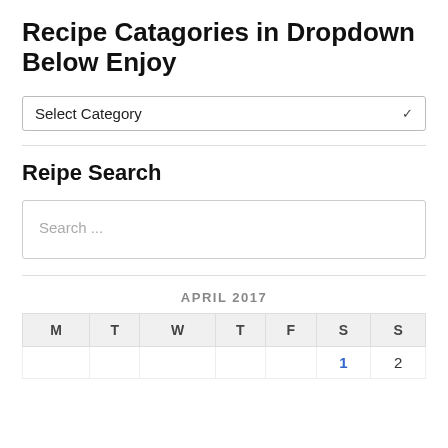Recipe Catagories in Dropdown Below Enjoy
[Figure (other): Dropdown select box labeled 'Select Category' with a chevron/arrow on the right]
Reipe Search
[Figure (other): Search input box with placeholder text 'Search ...']
| M | T | W | T | F | S | S |
| --- | --- | --- | --- | --- | --- | --- |
|  |  |  |  |  | 1 | 2 |